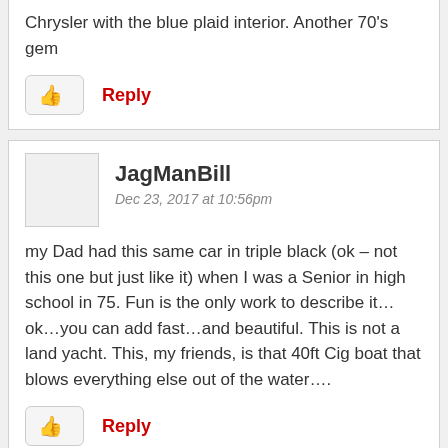Chrysler with the blue plaid interior. Another 70's gem
Reply
JagManBill
Dec 23, 2017 at 10:56pm
my Dad had this same car in triple black (ok – not this one but just like it) when I was a Senior in high school in 75. Fun is the only work to describe it…ok…you can add fast…and beautiful. This is not a land yacht. This, my friends, is that 40ft Cig boat that blows everything else out of the water….
Reply